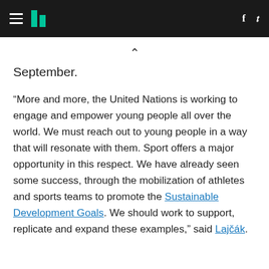HuffPost navigation header with hamburger menu, logo, Facebook and Twitter icons
September.
“More and more, the United Nations is working to engage and empower young people all over the world. We must reach out to young people in a way that will resonate with them. Sport offers a major opportunity in this respect. We have already seen some success, through the mobilization of athletes and sports teams to promote the Sustainable Development Goals. We should work to support, replicate and expand these examples,” said Lajčák.